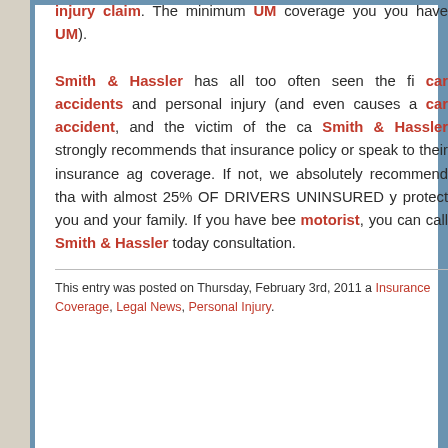injury claim. The minimum UM coverage you you have UM). Smith & Hassler has all too often seen the fi car accidents and personal injury (and even causes a car accident, and the victim of the ca Smith & Hassler strongly recommends that insurance policy or speak to their insurance ag coverage. If not, we absolutely recommend tha with almost 25% OF DRIVERS UNINSURED y protect you and your family. If you have bee motorist, you can call Smith & Hassler today consultation.
This entry was posted on Thursday, February 3rd, 2011 a Insurance Coverage, Legal News, Personal Injury.